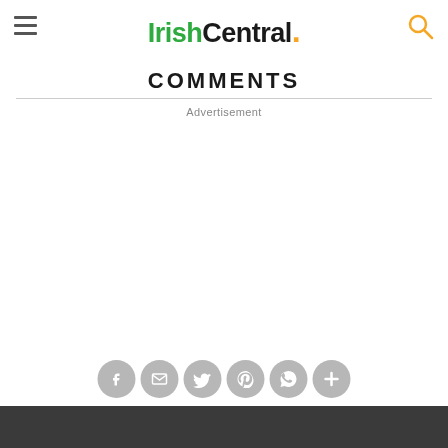IrishCentral.
COMMENTS
Advertisement